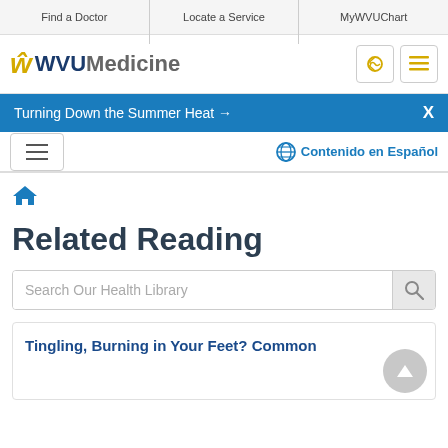Find a Doctor | Locate a Service | MyWVUChart
[Figure (logo): WVU Medicine logo with flying WV in gold and WVU in dark blue, Medicine in gray]
Turning Down the Summer Heat →
Contenido en Español
[Figure (illustration): Home icon breadcrumb link]
Related Reading
Search Our Health Library
Tingling, Burning in Your Feet? Common